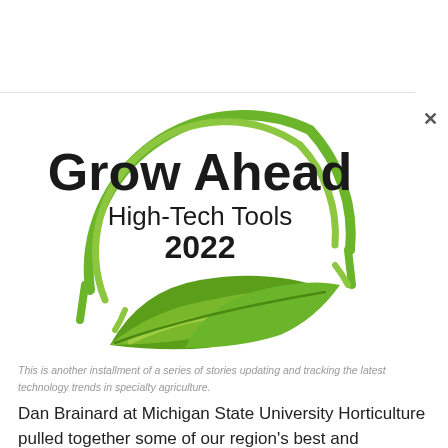[Figure (logo): Grow Ahead High-Tech Tools 2022 logo with green circular arc design and green leaf graphic]
This is another installment of a series of stories updating and tracking the latest technology trends in specialty agriculture.
Dan Brainard at Michigan State University Horticulture pulled together some of our region's best and brightest to